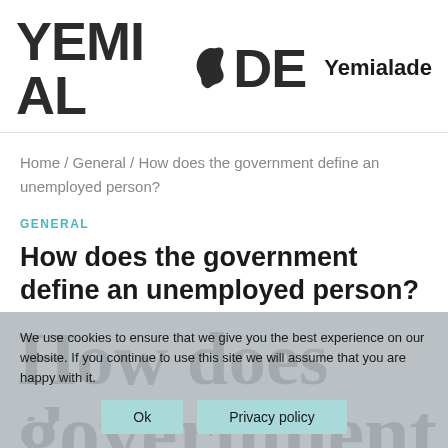YEMI ALADE — Yemialade...
Home / General / How does the government define an unemployed person?
GENERAL
How does the government define an unemployed person?
How does the
We use cookies to ensure that we give you the best experience on our website. If you continue to use this site we will assume that you are happy with it.
Ok   Privacy policy
government